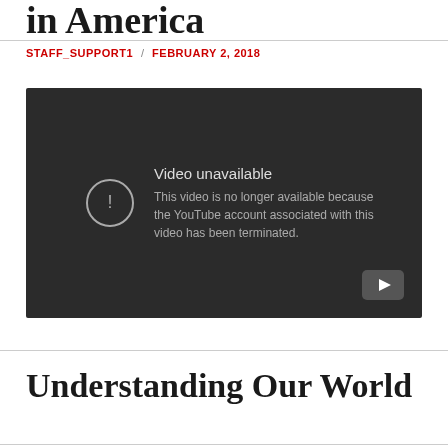in America
STAFF_SUPPORT1 / FEBRUARY 2, 2018
[Figure (screenshot): YouTube video embed showing 'Video unavailable' message. Text reads: 'This video is no longer available because the YouTube account associated with this video has been terminated.' YouTube logo icon visible at bottom right.]
Understanding Our World